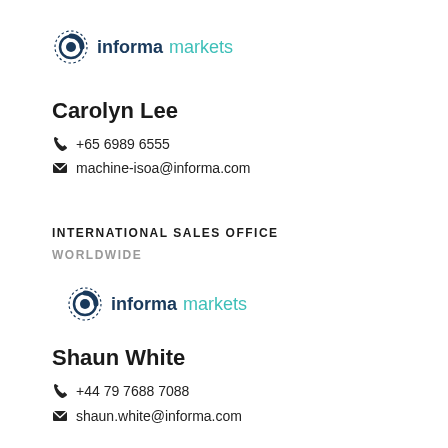[Figure (logo): Informa Markets logo with circular icon and text 'informa markets']
Carolyn Lee
+65 6989 6555
machine-isoa@informa.com
INTERNATIONAL SALES OFFICE
WORLDWIDE
[Figure (logo): Informa Markets logo with circular icon and text 'informa markets']
Shaun White
+44 79 7688 7088
shaun.white@informa.com